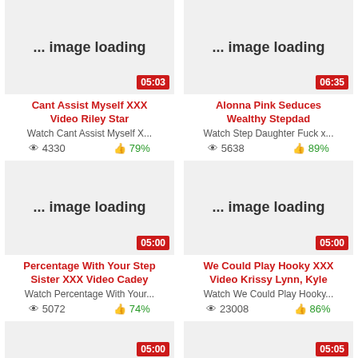[Figure (screenshot): Video thumbnail placeholder with duration 05:03]
[Figure (screenshot): Video thumbnail placeholder with duration 06:35]
Cant Assist Myself XXX Video Riley Star
Watch Cant Assist Myself X...
4330 views, 79% likes
Alonna Pink Seduces Wealthy Stepdad
Watch Step Daughter Fuck x...
5638 views, 89% likes
[Figure (screenshot): Video thumbnail placeholder with duration 05:00]
[Figure (screenshot): Video thumbnail placeholder with duration 05:00]
Percentage With Your Step Sister XXX Video Cadey
Watch Percentage With Your...
5072 views, 74% likes
We Could Play Hooky XXX Video Krissy Lynn, Kyle
Watch We Could Play Hooky...
23008 views, 86% likes
[Figure (screenshot): Video thumbnail placeholder with duration 05:00]
[Figure (screenshot): Video thumbnail placeholder with duration 05:05]